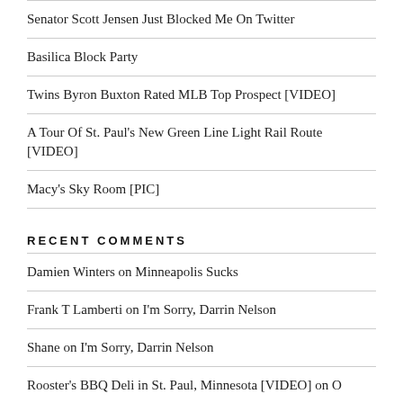Senator Scott Jensen Just Blocked Me On Twitter
Basilica Block Party
Twins Byron Buxton Rated MLB Top Prospect [VIDEO]
A Tour Of St. Paul's New Green Line Light Rail Route [VIDEO]
Macy's Sky Room [PIC]
RECENT COMMENTS
Damien Winters on Minneapolis Sucks
Frank T Lamberti on I'm Sorry, Darrin Nelson
Shane on I'm Sorry, Darrin Nelson
Rooster's BBQ Deli in St. Paul, Minnesota [VIDEO] on O